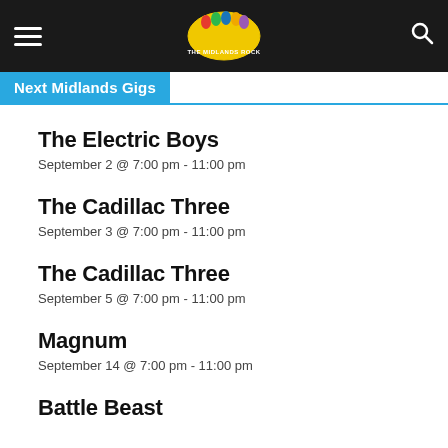THE MIDLANDS ROCK (logo/nav bar)
Next Midlands Gigs
The Electric Boys
September 2 @ 7:00 pm - 11:00 pm
The Cadillac Three
September 3 @ 7:00 pm - 11:00 pm
The Cadillac Three
September 5 @ 7:00 pm - 11:00 pm
Magnum
September 14 @ 7:00 pm - 11:00 pm
Battle Beast